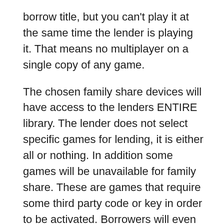borrow title, but you can't play it at the same time the lender is playing it. That means no multiplayer on a single copy of any game.
The chosen family share devices will have access to the lenders ENTIRE library. The lender does not select specific games for lending, it is either all or nothing. In addition some games will be unavailable for family share. These are games that require some third party code or key in order to be activated. Borrowers will even have access to any DLC that the lender has installed for their game. A borrower however cannot download DLC for a game they do not personally own.
Steam's family sharing plan as been held up as an awesome step by the company to make things easier for